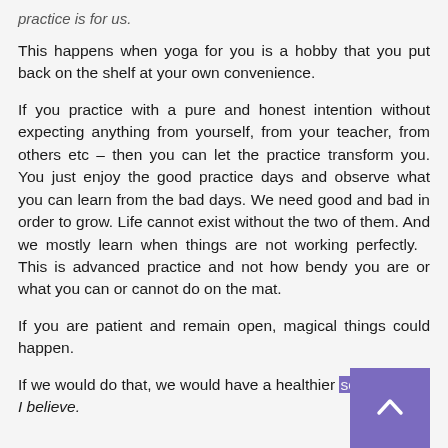practice is for us.
This happens when yoga for you is a hobby that you put back on the shelf at your own convenience.
If you practice with a pure and honest intention without expecting anything from yourself, from your teacher, from others etc – then you can let the practice transform you. You just enjoy the good practice days and observe what you can learn from the bad days. We need good and bad in order to grow. Life cannot exist without the two of them. And we mostly learn when things are not working perfectly.  This is advanced practice and not how bendy you are or what you can or cannot do on the mat.
If you are patient and remain open, magical things could happen.
If we would do that, we would have a healthier society, I believe.